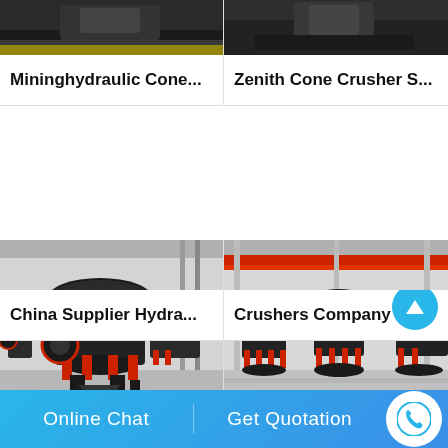[Figure (photo): Partial top view of a black hydraulic cone crusher machine on green/yellow floor]
[Figure (photo): Partial top view of a black cone crusher machine in a factory]
Mininghydraulic Cone...
Zenith Cone Crusher S...
[Figure (photo): Multiple black hydraulic cone crushers with red accents in a factory floor]
[Figure (photo): Row of black cone crushers with red accents in a large factory with red overhead crane]
China Supplier Hydra...
Crushers Company Ja...
[Figure (photo): Large black cone crusher close-up in a factory]
[Figure (photo): Cone crushers in a factory with red overhead crane and bright lighting]